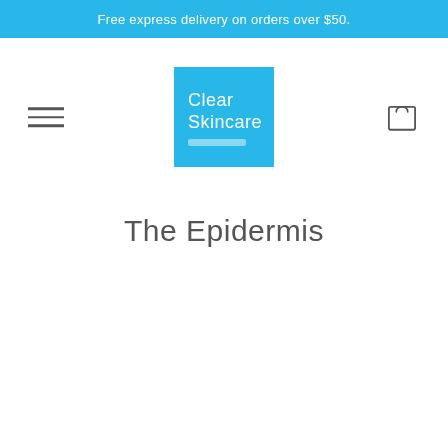Free express delivery on orders over $50.
[Figure (logo): Clear Skincare logo - blue square with white text reading Clear Skincare with a small tagline bar]
The Epidermis